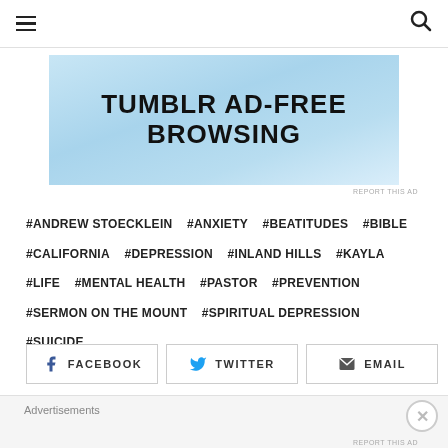Navigation bar with hamburger menu and search icon
[Figure (screenshot): Tumblr Ad-Free Browsing banner advertisement with blue gradient background]
REPORT THIS AD
#ANDREW STOECKLEIN  #ANXIETY  #BEATITUDES  #BIBLE  #CALIFORNIA  #DEPRESSION  #INLAND HILLS  #KAYLA  #LIFE  #MENTAL HEALTH  #PASTOR  #PREVENTION  #SERMON ON THE MOUNT  #SPIRITUAL DEPRESSION  #SUICIDE
FACEBOOK  TWITTER  EMAIL
Advertisements
REPORT THIS AD